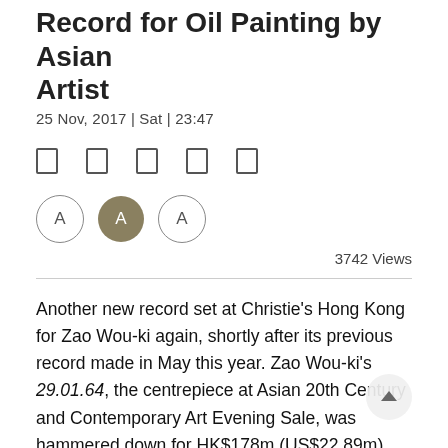Record for Oil Painting by Asian Artist
25 Nov, 2017 | Sat | 23:47
[Figure (other): Social media sharing icons (5 rectangular icons in a row)]
[Figure (other): Font size buttons: A (outline), A (filled olive), A (outline)]
3742 Views
Another new record set at Christie’s Hong Kong for Zao Wou-ki again, shortly after its previous record made in May this year. Zao Wou-ki’s 29.01.64, the centrepiece at Asian 20th Century and Contemporary Art Evening Sale, was hammered down for HK$178m (US$22.89m) after an intense bidding battle with three telephone bidders fighting over it for 15 minutes. It was sold for HK$202.6m